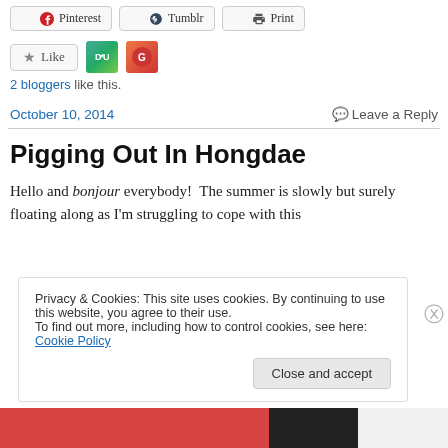[Figure (other): Social share buttons: Pinterest, Tumblr, Print]
[Figure (other): Like button with star icon and two blogger avatars]
2 bloggers like this.
October 10, 2014
Leave a Reply
Pigging Out In Hongdae
Hello and bonjour everybody!  The summer is slowly but surely floating along as I'm struggling to cope with this
Privacy & Cookies: This site uses cookies. By continuing to use this website, you agree to their use.
To find out more, including how to control cookies, see here: Cookie Policy
Close and accept